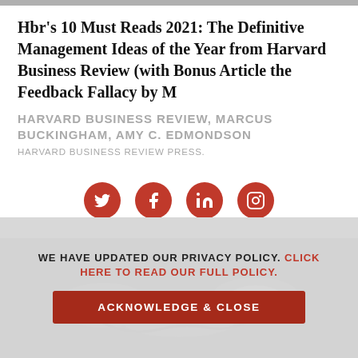Hbr's 10 Must Reads 2021: The Definitive Management Ideas of the Year from Harvard Business Review (with Bonus Article the Feedback Fallacy by M
HARVARD BUSINESS REVIEW, MARCUS BUCKINGHAM, AMY C. EDMONDSON
HARVARD BUSINESS REVIEW PRESS.
[Figure (infographic): Four red circular social media icons: Twitter, Facebook, LinkedIn, Instagram]
[Figure (photo): Background photo of white earbuds/headphones on a light surface]
WE HAVE UPDATED OUR PRIVACY POLICY. CLICK HERE TO READ OUR FULL POLICY.
ACKNOWLEDGE & CLOSE